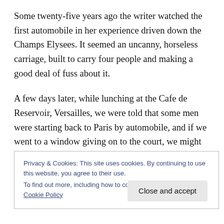Some twenty-five years ago the writer watched the first automobile in her experience driven down the Champs Elysees. It seemed an uncanny, horseless carriage, built to carry four people and making a good deal of fuss about it.
A few days later, while lunching at the Cafe de Reservoir, Versailles, we were told that some men were starting back to Paris by automobile, and if we went to a window giving on to the court, we might see the astonishing vehicle make its start. It was as thrilling as the first near view of an aeroplane, and all-excitement we watched the two Frenchmen getting ready for the
Privacy & Cookies: This site uses cookies. By continuing to use this website, you agree to their use.
To find out more, including how to control cookies, see here: Cookie Policy
Close and accept
and this is the text continued at bottom